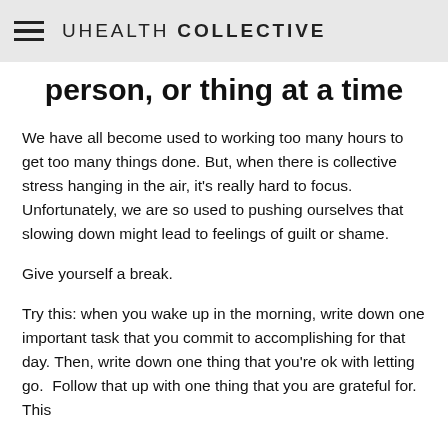UHEALTH COLLECTIVE
person, or thing at a time
We have all become used to working too many hours to get too many things done. But, when there is collective stress hanging in the air, it's really hard to focus. Unfortunately, we are so used to pushing ourselves that slowing down might lead to feelings of guilt or shame.
Give yourself a break.
Try this: when you wake up in the morning, write down one important task that you commit to accomplishing for that day. Then, write down one thing that you're ok with letting go. Follow that up with one thing that you are grateful for. This